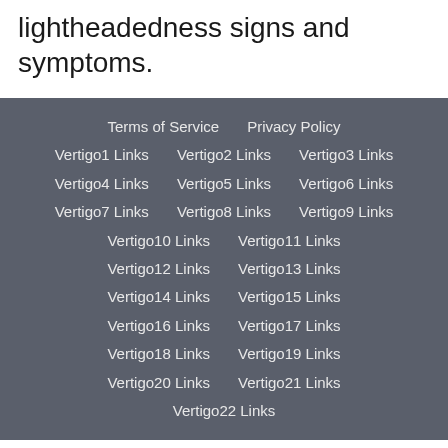lightheadedness signs and symptoms.
Terms of Service  Privacy Policy  Vertigo1 Links  Vertigo2 Links  Vertigo3 Links  Vertigo4 Links  Vertigo5 Links  Vertigo6 Links  Vertigo7 Links  Vertigo8 Links  Vertigo9 Links  Vertigo10 Links  Vertigo11 Links  Vertigo12 Links  Vertigo13 Links  Vertigo14 Links  Vertigo15 Links  Vertigo16 Links  Vertigo17 Links  Vertigo18 Links  Vertigo19 Links  Vertigo20 Links  Vertigo21 Links  Vertigo22 Links